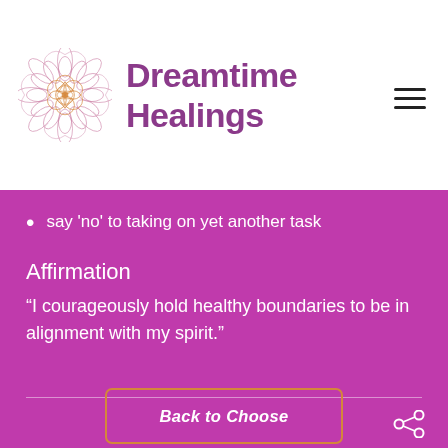[Figure (logo): Dreamtime Healings logo: ornate mandala/flower of life SVG in pink/orange/purple tones with the brand name 'Dreamtime Healings' in purple to the right]
say 'no' to taking on yet another task
Affirmation
“I courageously hold healthy boundaries to be in alignment with my spirit.”
Back to Choose